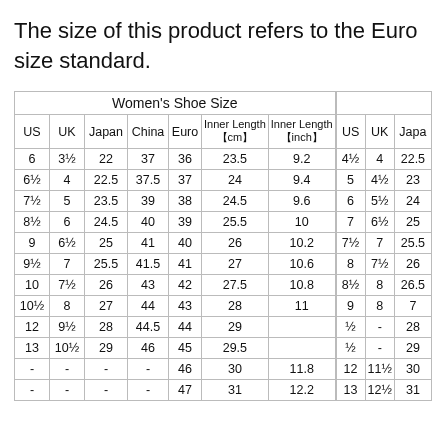The size of this product refers to the Euro size standard.
| US | UK | Japan | China | Euro | Inner Length 【cm】 | Inner Length 【inch】 | US | UK | Japa... |
| --- | --- | --- | --- | --- | --- | --- | --- | --- | --- |
| 6 | 3½ | 22 | 37 | 36 | 23.5 | 9.2 | 4½ | 4 | 22.5 |
| 6½ | 4 | 22.5 | 37.5 | 37 | 24 | 9.4 | 5 | 4½ | 23 |
| 7½ | 5 | 23.5 | 39 | 38 | 24.5 | 9.6 | 6 | 5½ | 24 |
| 8½ | 6 | 24.5 | 40 | 39 | 25.5 | 10 | 7 | 6½ | 25 |
| 9 | 6½ | 25 | 41 | 40 | 26 | 10.2 | 7½ | 7 | 25.5 |
| 9½ | 7 | 25.5 | 41.5 | 41 | 27 | 10.6 | 8 | 7½ | 26 |
| 10 | 7½ | 26 | 43 | 42 | 27.5 | 10.8 | 8½ | 8 | 26.5 |
| 10½ | 8 | 27 | 44 | 43 | 28 | 11 | 9 | 8 | 7 |
| 12 | 9½ | 28 | 44.5 | 44 | 29 | - | ½ | - | 28 |
| 13 | 10½ | 29 | 46 | 45 | 29.5 | - | ½ | - | 29 |
| - | - | - | - | 46 | 30 | 11.8 | 12 | 11½ | 30 |
| - | - | - | - | 47 | 31 | 12.2 | 13 | 12½ | 31 |